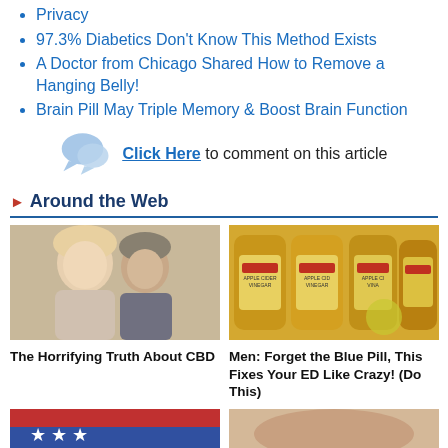Privacy
97.3% Diabetics Don't Know This Method Exists
A Doctor from Chicago Shared How to Remove a Hanging Belly!
Brain Pill May Triple Memory & Boost Brain Function
Click Here to comment on this article
Around the Web
[Figure (photo): Photo of an older couple smiling together]
The Horrifying Truth About CBD
[Figure (photo): Photo of multiple bottles of apple cider vinegar]
Men: Forget the Blue Pill, This Fixes Your ED Like Crazy! (Do This)
[Figure (photo): Partial photo at bottom left, flag visible]
[Figure (photo): Partial photo at bottom right]